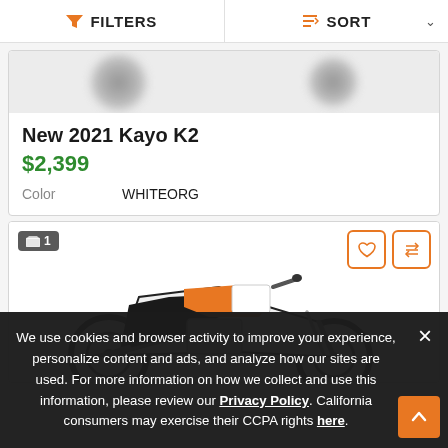FILTERS   SORT
[Figure (photo): Partial motorcycle top/wheel view, clipped at top of card]
New 2021 Kayo K2
$2,399
Color    WHITEORG
[Figure (photo): Motorcycle (dirt bike) photo showing front forks, handlebars, white/orange/black bodywork. Badge showing 1 image, heart and compare buttons.]
We use cookies and browser activity to improve your experience, personalize content and ads, and analyze how our sites are used. For more information on how we collect and use this information, please review our Privacy Policy. California consumers may exercise their CCPA rights here.